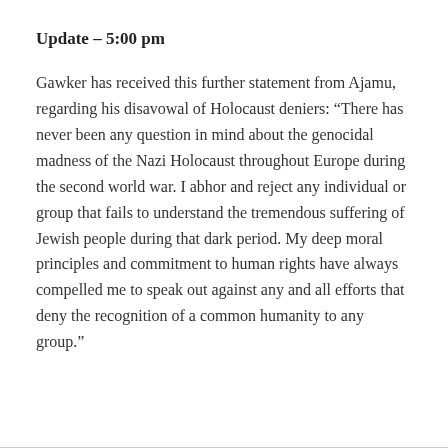Update – 5:00 pm
Gawker has received this further statement from Ajamu, regarding his disavowal of Holocaust deniers: “There has never been any question in mind about the genocidal madness of the Nazi Holocaust throughout Europe during the second world war. I abhor and reject any individual or group that fails to understand the tremendous suffering of Jewish people during that dark period. My deep moral principles and commitment to human rights have always compelled me to speak out against any and all efforts that deny the recognition of a common humanity to any group.”